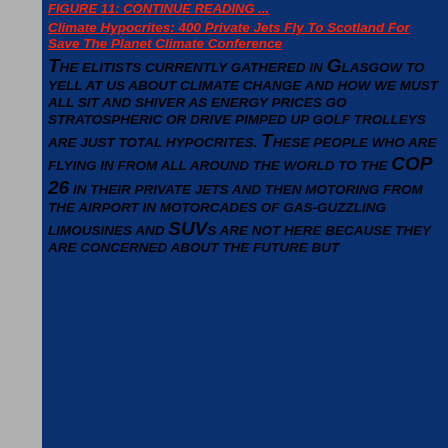FIGURE 11: CONTINUE READING ...
Climate Hypocrites: 400 Private Jets Fly To Scotland For Save The Planet Climate Conference
The elitists currently gathered in Glasgow to yell at us about climate change and how we must all sit and shiver as energy prices go stratospheric or drive pimped up golf trolleys are just total hypocrites. These people who are flying in from all around the world to the COP 26 in their private jets and then motoring from the airport in motorcades of gas-guzzling limousines and SUVs are not here because they are concerned about the future but